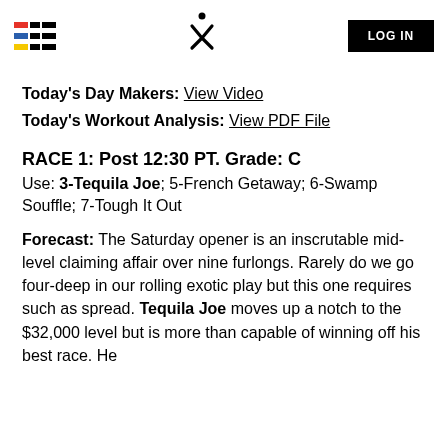LOG IN
Today's Day Makers: View Video
Today's Workout Analysis: View PDF File
RACE 1: Post 12:30 PT. Grade: C
Use: 3-Tequila Joe; 5-French Getaway; 6-Swamp Souffle; 7-Tough It Out
Forecast: The Saturday opener is an inscrutable mid-level claiming affair over nine furlongs. Rarely do we go four-deep in our rolling exotic play but this one requires such as spread. Tequila Joe moves up a notch to the $32,000 level but is more than capable of winning off his best race. He